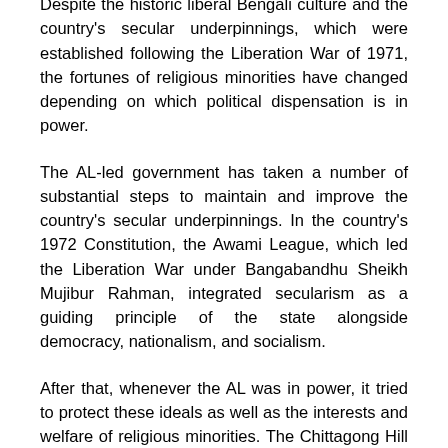Despite the historic liberal Bengali culture and the country's secular underpinnings, which were established following the Liberation War of 1971, the fortunes of religious minorities have changed depending on which political dispensation is in power.
The AL-led government has taken a number of substantial steps to maintain and improve the country's secular underpinnings. In the country's 1972 Constitution, the Awami League, which led the Liberation War under Bangabandhu Sheikh Mujibur Rahman, integrated secularism as a guiding principle of the state alongside democracy, nationalism, and socialism.
After that, whenever the AL was in power, it tried to protect these ideals as well as the interests and welfare of religious minorities. The Chittagong Hill Tracts (CHT) Peace Accord, signed by PMSH in 1997, marked a turning point in the region's peace efforts.